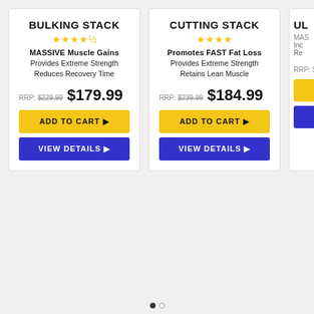[Figure (screenshot): Product card: BULKING STACK with 4.5 stars, MASSIVE Muscle Gains, Provides Extreme Strength, Reduces Recovery Time, RRP: $229.99, price $179.99, ADD TO CART and VIEW DETAILS buttons]
[Figure (screenshot): Product card: CUTTING STACK with 4 stars, Promotes FAST Fat Loss, Provides Extreme Strength, Retains Lean Muscle, RRP: $239.99, price $184.99, ADD TO CART and VIEW DETAILS buttons]
[Figure (screenshot): Partial product card: UL... with RRP: $35... and partial ADD TO CART and VIEW DETAILS buttons]